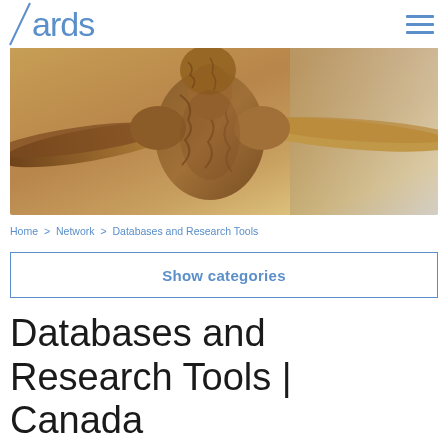ards
[Figure (photo): Close-up photograph of a mummified human torso/shoulder area showing dried, dark brown preserved skin and bone structure, arms extended outward against a light grey background.]
Home > Network > Databases and Research Tools
Show categories
Databases and Research Tools | Canada